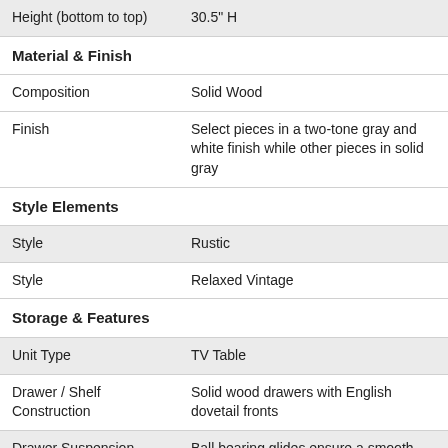| Height (bottom to top) | 30.5" H |
| Material & Finish |  |
| Composition | Solid Wood |
| Finish | Select pieces in a two-tone gray and white finish while other pieces in solid gray |
| Style Elements |  |
| Style | Rustic |
| Style | Relaxed Vintage |
| Storage & Features |  |
| Unit Type | TV Table |
| Drawer / Shelf Construction | Solid wood drawers with English dovetail fronts |
| Drawer Suspension | Ball bearing glides ensure a smooth operation on drawers |